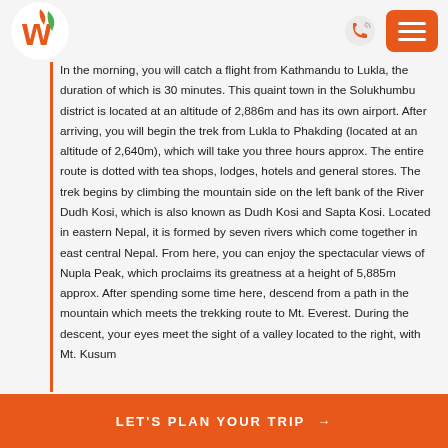[Figure (logo): Travel company logo with stylized 'w' letter in orange and green colors]
In the morning, you will catch a flight from Kathmandu to Lukla, the duration of which is 30 minutes. This quaint town in the Solukhumbu district is located at an altitude of 2,886m and has its own airport. After arriving, you will begin the trek from Lukla to Phakding (located at an altitude of 2,640m), which will take you three hours approx. The entire route is dotted with tea shops, lodges, hotels and general stores. The trek begins by climbing the mountain side on the left bank of the River Dudh Kosi, which is also known as Dudh Kosi and Sapta Kosi. Located in eastern Nepal, it is formed by seven rivers which come together in east central Nepal. From here, you can enjoy the spectacular views of Nupla Peak, which proclaims its greatness at a height of 5,885m approx. After spending some time here, descend from a path in the mountain which meets the trekking route to Mt. Everest. During the descent, your eyes meet the sight of a valley located to the right, with Mt. Kusum
LET'S PLAN YOUR TRIP →